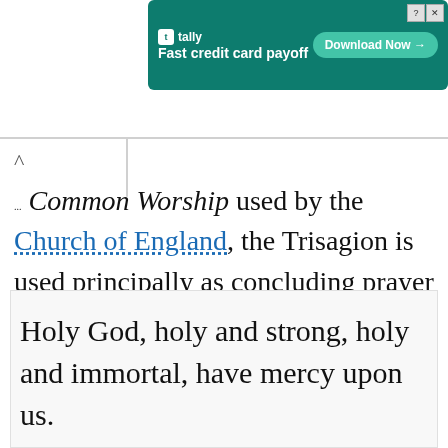[Figure (screenshot): Advertisement banner for Tally app: 'Fast credit card payoff' with a 'Download Now' button on a teal/green background.]
In Common Worship used by the Church of England, the Trisagion is used principally as concluding prayer of the Litany in the following form:
Holy God, holy and strong, holy and immortal, have mercy upon us.